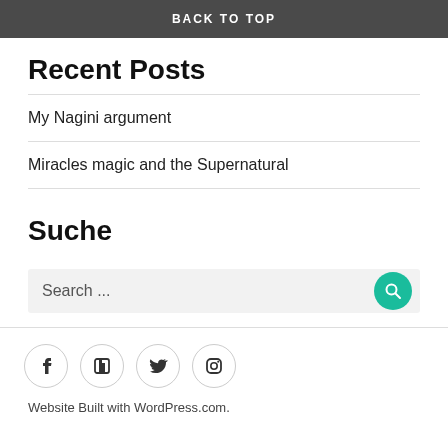BACK TO TOP
Recent Posts
My Nagini argument
Miracles magic and the Supernatural
Suche
Search ...
Website Built with WordPress.com.